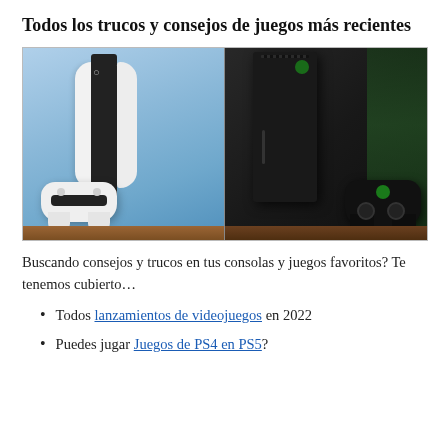Todos los trucos y consejos de juegos más recientes
[Figure (photo): Side-by-side photo of a white PlayStation 5 console with DualSense controller (left half) and a black Xbox Series X console with Xbox controller (right half), both placed on a wooden surface.]
Buscando consejos y trucos en tus consolas y juegos favoritos? Te tenemos cubierto…
Todos lanzamientos de videojuegos en 2022
Puedes jugar Juegos de PS4 en PS5?